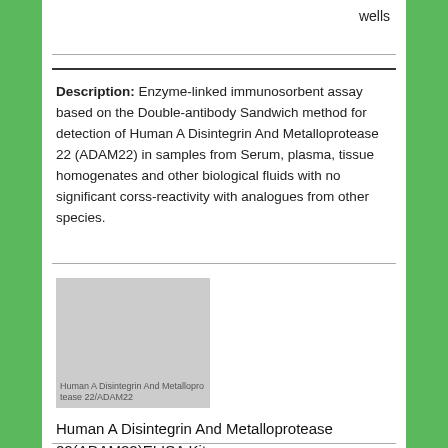wells
Description: Enzyme-linked immunosorbent assay based on the Double-antibody Sandwich method for detection of Human A Disintegrin And Metalloprotease 22 (ADAM22) in samples from Serum, plasma, tissue homogenates and other biological fluids with no significant corss-reactivity with analogues from other species.
[Figure (photo): Product image placeholder for Human A Disintegrin And Metalloprotease 22 ADAM22 ELISA Kit with label text reading: Human A Disintegrin And Metalloprotease 22/ADAM22]
Human A Disintegrin And Metalloprotease 22(ADAM22)ELISA Kit